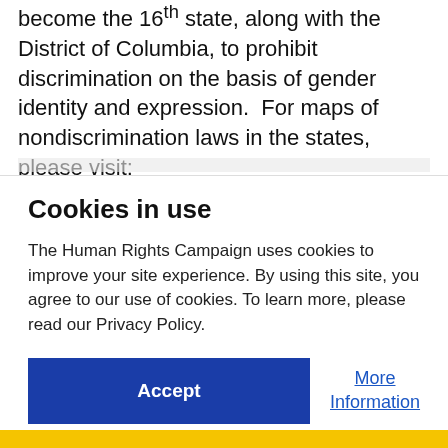become the 16th state, along with the District of Columbia, to prohibit discrimination on the basis of gender identity and expression. For maps of nondiscrimination laws in the states, please visit:
Cookies in use
The Human Rights Campaign uses cookies to improve your site experience. By using this site, you agree to our use of cookies. To learn more, please read our Privacy Policy.
Accept
More Information